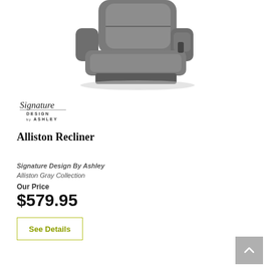[Figure (photo): Gray leather recliner chair photographed from a slight angle, showing the seat, back, and armrests. The chair appears to be in a reclined position.]
[Figure (logo): Signature Design by Ashley script logo in black cursive with 'DESIGN by ASHLEY' text beneath]
Alliston Recliner
Signature Design By Ashley
Alliston Gray Collection
Our Price
$579.95
See Details